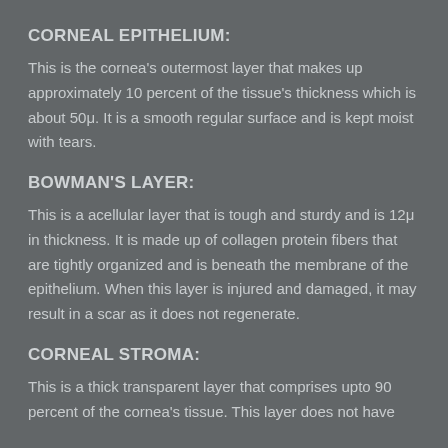CORNEAL EPITHELIUM:
This is the cornea's outermost layer that makes up approximately 10 percent of the tissue's thickness which is about 50μ. It is a smooth regular surface and is kept moist with tears.
BOWMAN'S LAYER:
This is a acellular layer that is tough and sturdy and is 12μ in thickness. It is made up of collagen protein fibers that are tightly organized and is beneath the membrane of the epithelium. When this layer is injured and damaged, it may result in a scar as it does not regenerate.
CORNEAL STROMA:
This is a thick transparent layer that comprises upto 90 percent of the cornea's tissue. This layer does not have